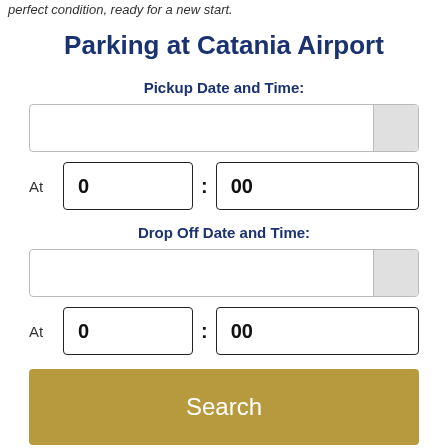perfect condition, ready for a new start.
Parking at Catania Airport
Pickup Date and Time:
At  0 : 00
Drop Off Date and Time:
At  0 : 00
Search